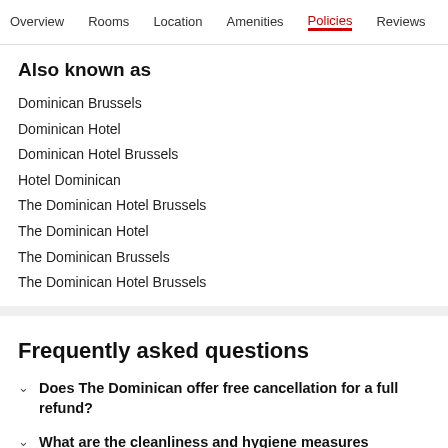Overview  Rooms  Location  Amenities  Policies  Reviews
Also known as
Dominican Brussels
Dominican Hotel
Dominican Hotel Brussels
Hotel Dominican
The Dominican Hotel Brussels
The Dominican Hotel
The Dominican Brussels
The Dominican Hotel Brussels
Frequently asked questions
Does The Dominican offer free cancellation for a full refund?
What are the cleanliness and hygiene measures currently in place at The Dominican?